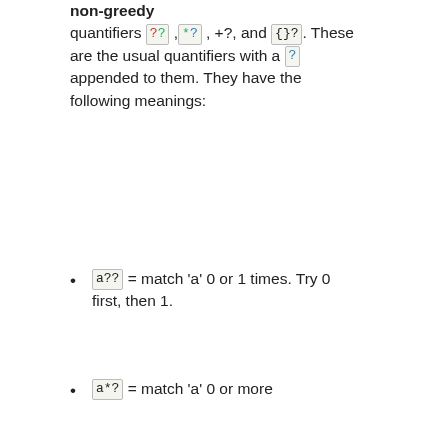non-greedy quantifiers ??, *?, +?, and {}?. These are the usual quantifiers with a ? appended to them. They have the following meanings:
a?? = match 'a' 0 or 1 times. Try 0 first, then 1.
a*? = match 'a' 0 or more times, i.e., any number of times, but as few times as possible
a+? = match 'a' 1 or more times, i.e., at least once, but